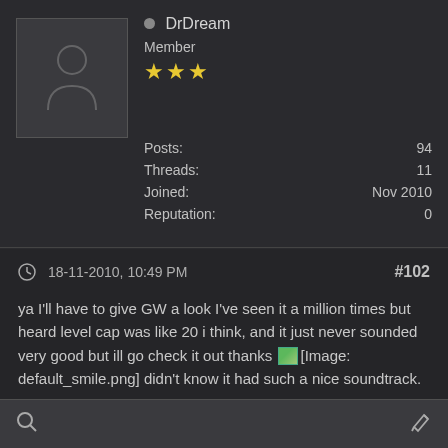[Figure (illustration): Default user avatar silhouette in a grey box]
DrDream
Member
★★★
| Posts: | 94 |
| Threads: | 11 |
| Joined: | Nov 2010 |
| Reputation: | 0 |
18-11-2010, 10:49 PM
#102
ya I'll have to give GW a look I've seen it a million times but heard level cap was like 20 i think, and it just never sounded very good but ill go check it out thanks [Image: default_smile.png] didn't know it had such a nice soundtrack.